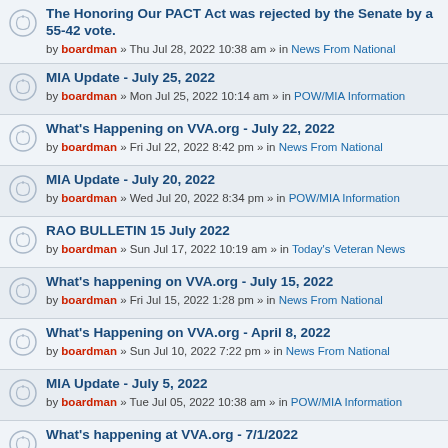The Honoring Our PACT Act was rejected by the Senate by a 55-42 vote. by boardman » Thu Jul 28, 2022 10:38 am » in News From National
MIA Update - July 25, 2022 by boardman » Mon Jul 25, 2022 10:14 am » in POW/MIA Information
What's Happening on VVA.org - July 22, 2022 by boardman » Fri Jul 22, 2022 8:42 pm » in News From National
MIA Update - July 20, 2022 by boardman » Wed Jul 20, 2022 8:34 pm » in POW/MIA Information
RAO BULLETIN 15 July 2022 by boardman » Sun Jul 17, 2022 10:19 am » in Today's Veteran News
What's happening on VVA.org - July 15, 2022 by boardman » Fri Jul 15, 2022 1:28 pm » in News From National
What's Happening on VVA.org - April 8, 2022 by boardman » Sun Jul 10, 2022 7:22 pm » in News From National
MIA Update - July 5, 2022 by boardman » Tue Jul 05, 2022 10:38 am » in POW/MIA Information
What's happening at VVA.org - 7/1/2022 by boardman » Fri Jul 01, 2022 4:09 pm » in News From National
MIA Update - June 27, 2022 by boardman » Mon Jun 27, 2022 6:28 pm » in POW/MIA Information
What's happening on VVA.org - 6/24/2022 by boardman » Fri Jun 24, 2022 1:47 pm » in News From National